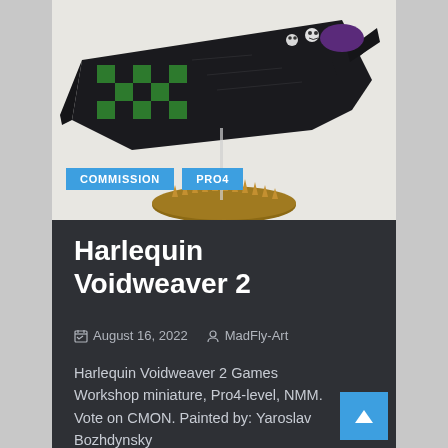[Figure (photo): A Harlequin Voidweaver Games Workshop miniature painted in black and green checkerboard pattern with purple accents, mounted on a brown oval base with a clear flying stand, photographed against a light background.]
COMMISSION   PRO4
MadFly-Art
Harlequin Voidweaver 2
August 16, 2022   MadFly-Art
Harlequin Voidweaver 2 Games Workshop miniature, Pro4-level, NMM. Vote on CMON. Painted by: Yaroslav Bozhdynsky